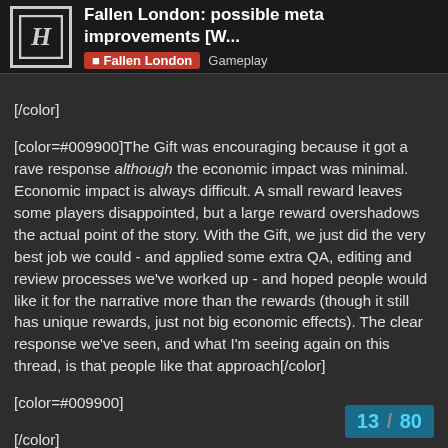Fallen London: possible meta improvements [W... | Fallen London | Gameplay
[/color]
[color=#009900]The Gift was encouraging because it got a rave response although the economic impact was minimal. Economic impact is always difficult. A small reward leaves some players disappointed, but a large reward overshadows the actual point of the story. With the Gift, we just did the very best job we could - and applied some extra QA, editing and review processes we've worked up - and hoped people would like it for the narrative more than the rewards (though it still has unique rewards, just not big economic effects). The clear response we've seen, and what I'm seeing again on this thread, is that people like that approach[/color]
[color=#009900]
[/color]
[color=#009900]re EFship and small amounts of monthly content[/color]
[color=#009900]
[/color]
[color=#009900]This is good to hear - that